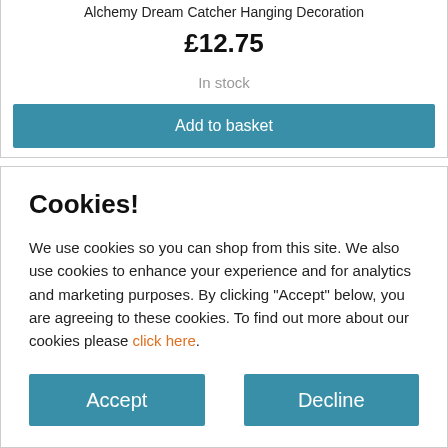Alchemy Dream Catcher Hanging Decoration
£12.75
In stock
Add to basket
Cookies!
We use cookies so you can shop from this site. We also use cookies to enhance your experience and for analytics and marketing purposes. By clicking "Accept" below, you are agreeing to these cookies. To find out more about our cookies please click here.
Accept
Decline